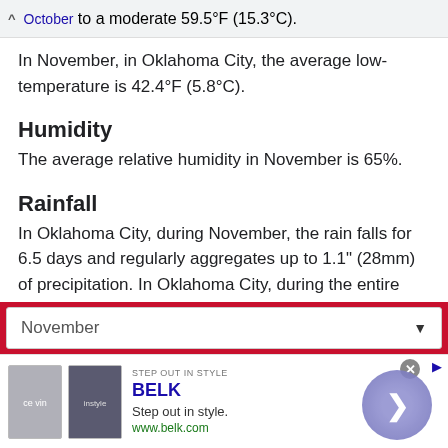October to a moderate 59.5°F (15.3°C).
In November, in Oklahoma City, the average low-temperature is 42.4°F (5.8°C).
Humidity
The average relative humidity in November is 65%.
Rainfall
In Oklahoma City, during November, the rain falls for 6.5 days and regularly aggregates up to 1.1" (28mm) of precipitation. In Oklahoma City, during the entire
November ▼
[Figure (other): Advertisement banner for Belk clothing store showing product images, brand name, tagline 'Step out in style.' and website www.belk.com]